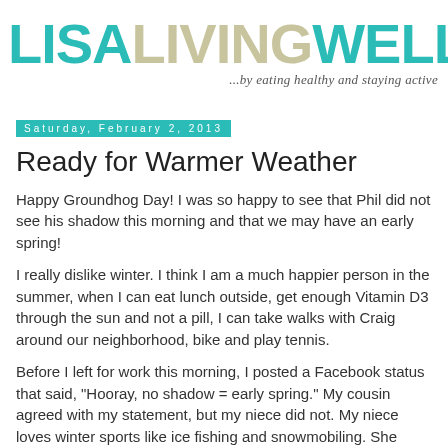[Figure (logo): LisaLivingWell blog logo with teal and beige text and a bicycle icon]
...by eating healthy and staying active
Saturday, February 2, 2013
Ready for Warmer Weather
Happy Groundhog Day! I was so happy to see that Phil did not see his shadow this morning and that we may have an early spring!
I really dislike winter. I think I am a much happier person in the summer, when I can eat lunch outside, get enough Vitamin D3 through the sun and not a pill, I can take walks with Craig around our neighborhood, bike and play tennis.
Before I left for work this morning, I posted a Facebook status that said, "Hooray, no shadow = early spring." My cousin agreed with my statement, but my niece did not. My niece loves winter sports like ice fishing and snowmobiling. She embraces her Minnesota weather and enjoys winter